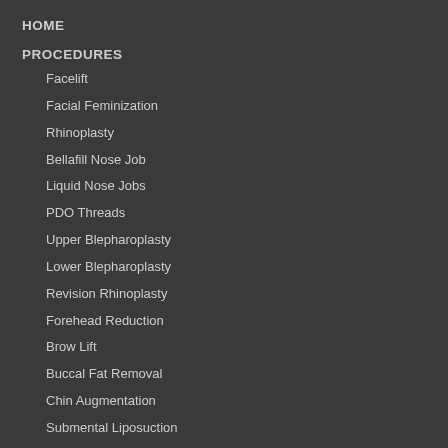HOME
PROCEDURES
Facelift
Facial Feminization
Rhinoplasty
Bellafill Nose Job
Liquid Nose Jobs
PDO Threads
Upper Blepharoplasty
Lower Blepharoplasty
Revision Rhinoplasty
Forehead Reduction
Brow Lift
Buccal Fat Removal
Chin Augmentation
Submental Liposuction
BEFORE & AFTER